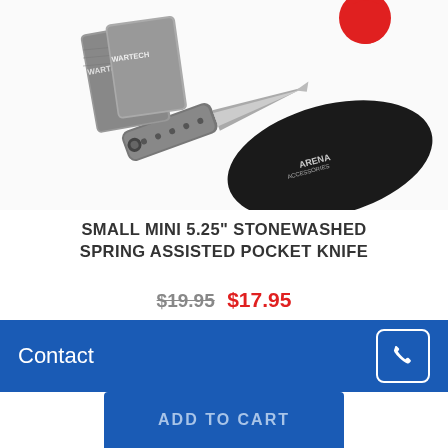[Figure (photo): Product photo showing a stonewashed spring assisted pocket knife with Arena Accessories branded pouch and Wartech packaging]
SMALL MINI 5.25" STONEWASHED SPRING ASSISTED POCKET KNIFE
$19.95 $17.95
In Stock
(0)
Contact
ADD TO CART